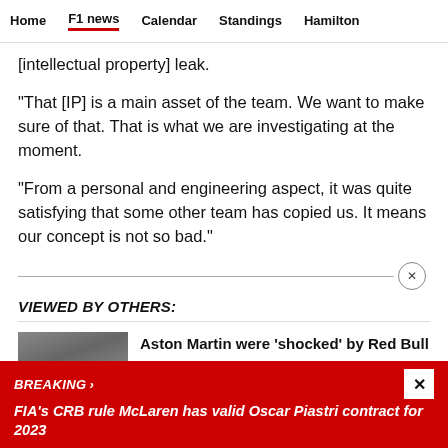Home  F1 news  Calendar  Standings  Hamilton
[intellectual property] leak.
"That [IP] is a main asset of the team. We want to make sure of that. That is what we are investigating at the moment.
"From a personal and engineering aspect, it was quite satisfying that some other team has copied us. It means our concept is not so bad."
VIEWED BY OTHERS:
Aston Martin were 'shocked' by Red Bull
BREAKING › FIA's CRB rule McLaren has valid Oscar Piastri contract for 2023